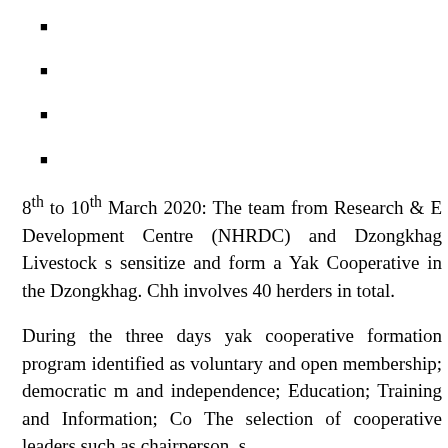8th to 10th March 2020: The team from Research & Development Centre (NHRDC) and Dzongkhag Livestock s... sensitize and form a Yak Cooperative in the Dzongkhag. Chh... involves 40 herders in total.
During the three days yak cooperative formation program... identified as voluntary and open membership; democratic m... and independence; Education; Training and Information; Co... The selection of cooperative leaders such as chairperson, s...